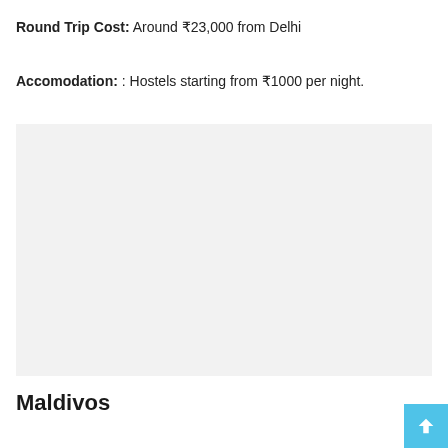Round Trip Cost: Around ₹23,000 from Delhi
Accomodation: : Hostels starting from ₹1000 per night.
[Figure (photo): Large image placeholder with light gray background]
Maldivos